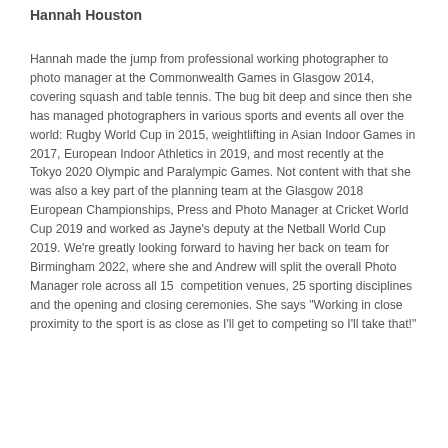Hannah Houston
Hannah made the jump from professional working photographer to photo manager at the Commonwealth Games in Glasgow 2014, covering squash and table tennis. The bug bit deep and since then she has managed photographers in various sports and events all over the world: Rugby World Cup in 2015, weightlifting in Asian Indoor Games in 2017, European Indoor Athletics in 2019, and most recently at the Tokyo 2020 Olympic and Paralympic Games. Not content with that she was also a key part of the planning team at the Glasgow 2018 European Championships, Press and Photo Manager at Cricket World Cup 2019 and worked as Jayne's deputy at the Netball World Cup 2019. We're greatly looking forward to having her back on team for Birmingham 2022, where she and Andrew will split the overall Photo Manager role across all 15 competition venues, 25 sporting disciplines and the opening and closing ceremonies. She says "Working in close proximity to the sport is as close as I'll get to competing so I'll take that!"